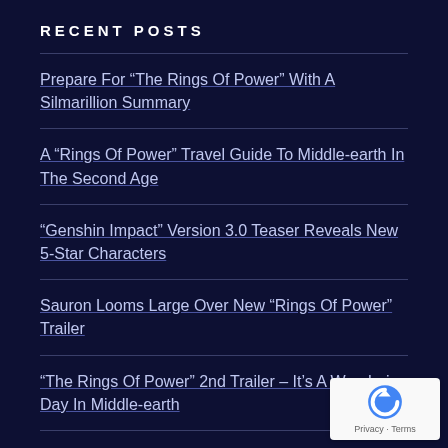RECENT POSTS
Prepare For “The Rings Of Power” With A Silmarillion Summary
A “Rings Of Power” Travel Guide To Middle-earth In The Second Age
“Genshin Impact” Version 3.0 Teaser Reveals New 5-Star Characters
Sauron Looms Large Over New “Rings Of Power” Trailer
“The Rings Of Power” 2nd Trailer – It’s A Wandering Day In Middle-earth
Genshin Impact Finally Revealed All 11 Fatui Harb… – And They’re Beautiful